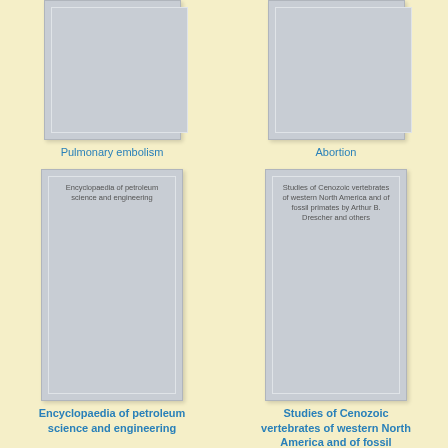[Figure (illustration): Book cover for Pulmonary embolism, shown partially cropped at top, gray cover with inner border]
Pulmonary embolism
[Figure (illustration): Book cover for Abortion, shown partially cropped at top, gray cover with inner border]
Abortion
[Figure (illustration): Book cover for Encyclopaedia of petroleum science and engineering, full cover shown, gray with inner border and title text]
Encyclopaedia of petroleum science and engineering
[Figure (illustration): Book cover for Studies of Cenozoic vertebrates of western North America and of fossil primates by Arthur B. Drescher and others, full cover shown, gray with inner border and title text]
Studies of Cenozoic vertebrates of western North America and of fossil primates by Arthur B. Drescher and others